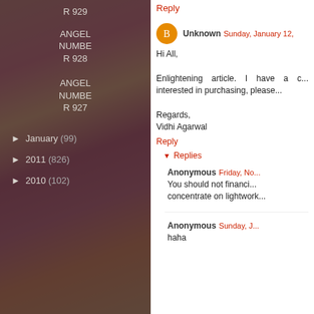R 929
ANGEL NUMBER 928
ANGEL NUMBER 927
► January (99)
► 2011 (826)
► 2010 (102)
Reply
Unknown  Sunday, January 12,
Hi All,

Enlightening article. I have a c... interested in purchasing, please...

Regards,
Vidhi Agarwal
Reply
▾ Replies
Anonymous  Friday, No...
You should not financi... concentrate on lightwork...
Anonymous  Sunday, J...
haha